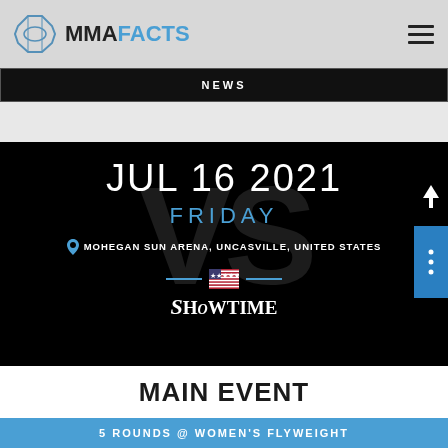MMAFACTS
NEWS
JUL 16 2021
FRIDAY
MOHEGAN SUN ARENA, UNCASVILLE, UNITED STATES
[Figure (logo): US flag with bracket lines and SHOWTIME logo]
MAIN EVENT
5 ROUNDS @ WOMEN'S FLYWEIGHT